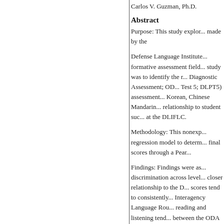Carlos V. Guzman, Ph.D.
Abstract
Purpose: This study explor... made by the
Defense Language Institute... formative assessment field... study was to identify the r... Diagnostic Assessment; OD... Test 5; DLPT5) assessment... Korean, Chinese Mandarin... relationship to student suc... at the DLIFLC.
Methodology: This nonexp... regression model to determ... final scores through a Pear...
Findings: Findings were as... discrimination across level... closer relationship to the D... scores tend to consistently... Interagency Language Rou... reading and listening tend... between the ODA and the D...
Conclusion: Because the li...